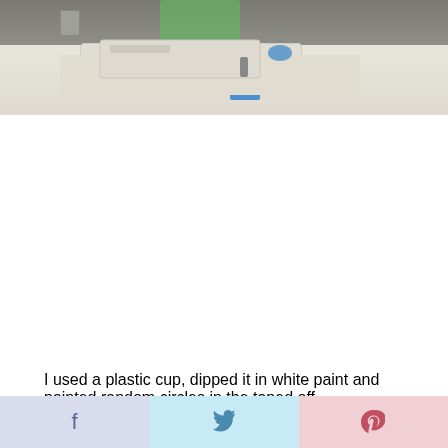[Figure (photo): Photo of a craft/painting workspace showing a desk with painting supplies, a tray, green item, blue tape piece, and wall outlet in background]
[Figure (other): Teal/turquoise square button with white upward arrow icon (scroll to top button)]
I used a plastic cup, dipped it in white paint and painted random circles in the taped off
f  t  p